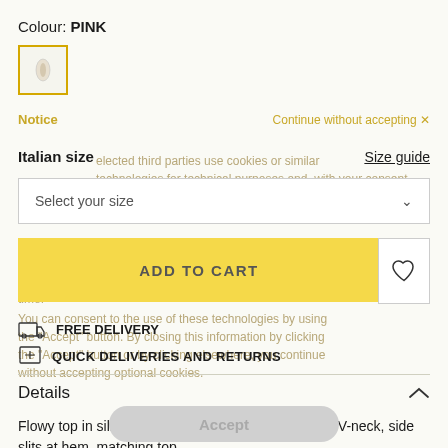Colour: PINK
[Figure (illustration): Small oval swatch showing pink/cream fabric texture with gold/yellow border]
Notice   Continue without accepting ✕
Italian size   Size guide
Select your size
ADD TO CART
FREE DELIVERY
QUICK DELIVERIES AND RETURNS
Details
Accept
Flowy top in silk fil coupé with foulard neck in satin, V-neck, side slits at hem, matching top.